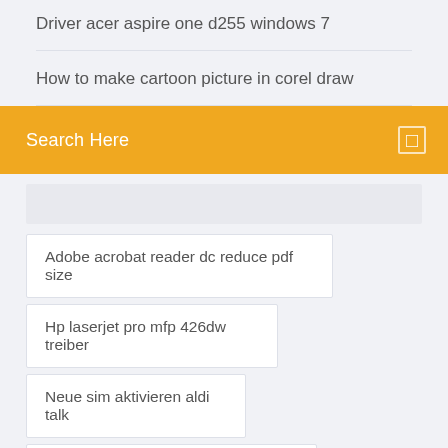Driver acer aspire one d255 windows 7
How to make cartoon picture in corel draw
Search Here
Adobe acrobat reader dc reduce pdf size
Hp laserjet pro mfp 426dw treiber
Neue sim aktivieren aldi talk
Youtube naar mp3 converteren downloader
Amd athlon(tm) 64 x2 dual core processor 4200+ 2.2ghz